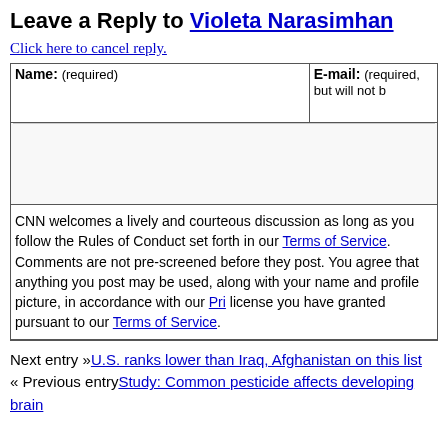Leave a Reply to Violeta Narasimhan
Click here to cancel reply.
| Name: (required) | E-mail: (required, but will not be published) |
| --- | --- |
|  |  |
CNN welcomes a lively and courteous discussion as long as you follow the Rules of Conduct set forth in our Terms of Service. Comments are not pre-screened before they post. You agree that anything you post may be used, along with your name and profile picture, in accordance with our Privacy Policy and the license you have granted pursuant to our Terms of Service.
Next entry »U.S. ranks lower than Iraq, Afghanistan on this list
« Previous entryStudy: Common pesticide affects developing brain